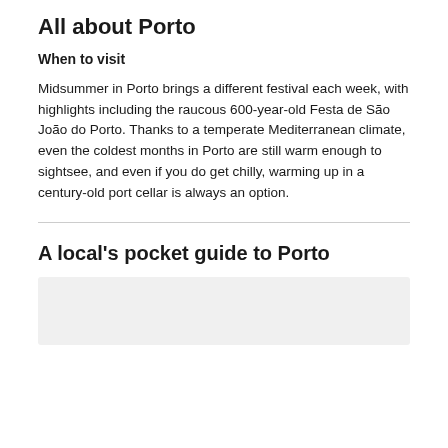All about Porto
When to visit
Midsummer in Porto brings a different festival each week, with highlights including the raucous 600-year-old Festa de São João do Porto. Thanks to a temperate Mediterranean climate, even the coldest months in Porto are still warm enough to sightsee, and even if you do get chilly, warming up in a century-old port cellar is always an option.
A local's pocket guide to Porto
[Figure (photo): Partial view of a photo, appears to be a local Porto guide image, mostly cropped]